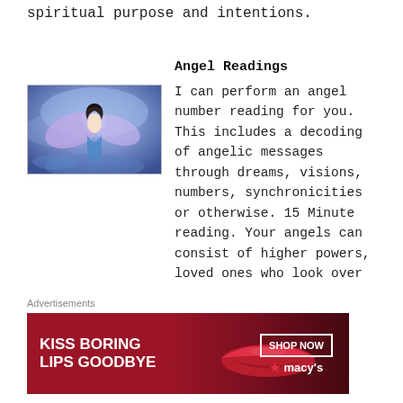spiritual purpose and intentions.
Angel Readings
[Figure (illustration): Fantasy illustration of an angel woman with dark hair and blue/purple wings against a blue sky background]
I can perform an angel number reading for you. This includes a decoding of angelic messages through dreams, visions, numbers, synchronicities or otherwise. 15 Minute reading. Your angels can consist of higher powers, loved ones who look over
Advertisements
[Figure (photo): Macy's advertisement: KISS BORING LIPS GOODBYE with SHOP NOW button and Macy's logo with red star]